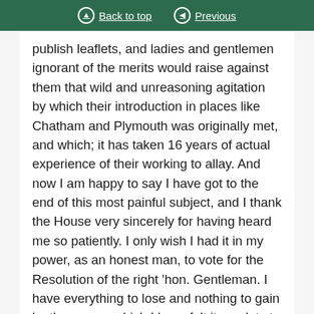Back to top | Previous
publish leaflets, and ladies and gentlemen ignorant of the merits would raise against them that wild and unreasoning agitation by which their introduction in places like Chatham and Plymouth was originally met, and which; it has taken 16 years of actual experience of their working to allay. And now I am happy to say I have got to the end of this most painful subject, and I thank the House very sincerely for having heard me so patiently. I only wish I had it in my power, as an honest man, to vote for the Resolution of the right 'hon. Gentleman. I have everything to lose and nothing to gain by the course which I have felt it my duty to take. I represent a constituency of Nonconformists, and we all know how strong their feeling is on this subject, though I